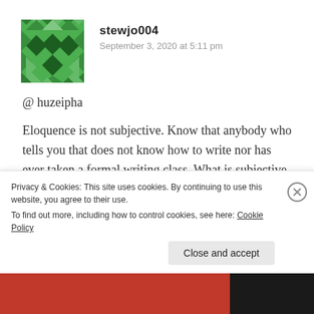[Figure (illustration): Green geometric mosaic avatar for user stewjo004]
stewjo004
September 3, 2020 at 5:11 pm
@ huzeipha
Eloquence is not subjective. Know that anybody who tells you that does not know how to write nor has ever taken a formal writing class. What is subjective in writing is how the piece made you feel...
Privacy & Cookies: This site uses cookies. By continuing to use this website, you agree to their use.
To find out more, including how to control cookies, see here: Cookie Policy
Close and accept